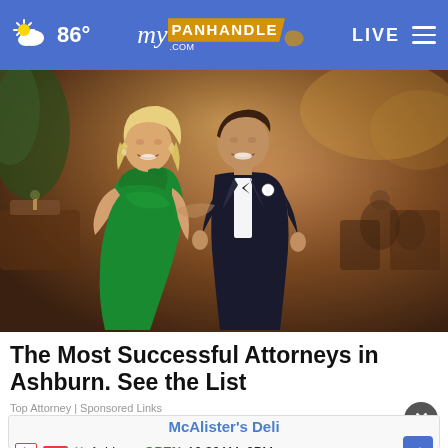86° myPanhandle.com LIVE
[Figure (photo): A couple at a formal event. A woman in a green strapless dress and a man in a black tuxedo with bow tie and white boutonniere, smiling, at what appears to be a banquet hall.]
The Most Successful Attorneys in Ashburn. See the List
Top Attorney | Sponsored Links
[Figure (other): McAlister's Deli advertisement banner. Shows store name, Ashburn location, OPEN status, hours 10:30AM-9PM, with navigation arrow button.]